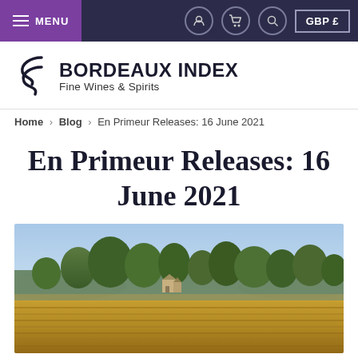MENU | GBP £
[Figure (logo): Bordeaux Index logo with stylized B symbol and text 'BORDEAUX INDEX Fine Wines & Spirits']
Home > Blog > En Primeur Releases: 16 June 2021
En Primeur Releases: 16 June 2021
[Figure (photo): Landscape photo of a Bordeaux vineyard at golden hour, with autumn-colored vines in foreground, trees and a château in the middle ground, and a blue sky with soft clouds in the background.]